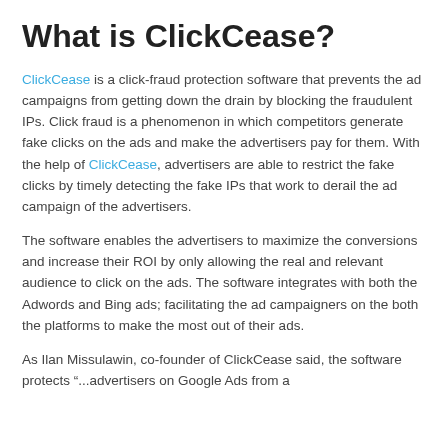What is ClickCease?
ClickCease is a click-fraud protection software that prevents the ad campaigns from getting down the drain by blocking the fraudulent IPs. Click fraud is a phenomenon in which competitors generate fake clicks on the ads and make the advertisers pay for them. With the help of ClickCease, advertisers are able to restrict the fake clicks by timely detecting the fake IPs that work to derail the ad campaign of the advertisers.
The software enables the advertisers to maximize the conversions and increase their ROI by only allowing the real and relevant audience to click on the ads. The software integrates with both the Adwords and Bing ads; facilitating the ad campaigners on the both the platforms to make the most out of their ads.
As Ilan Missulawin, co-founder of ClickCease said, the software protects "...advertisers on Google Ads from a